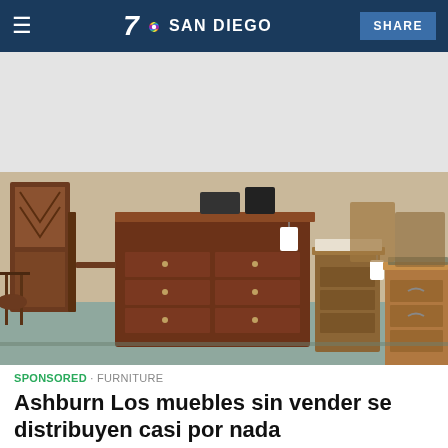7 NBC SAN DIEGO   SHARE
[Figure (photo): Showroom of antique and vintage wooden furniture including dressers, nightstands, and cabinets displayed on a concrete floor]
SPONSORED · FURNITURE
Ashburn Los muebles sin vender se distribuyen casi por nada